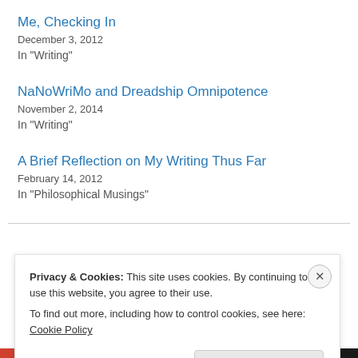Me, Checking In
December 3, 2012
In "Writing"
NaNoWriMo and Dreadship Omnipotence
November 2, 2014
In "Writing"
A Brief Reflection on My Writing Thus Far
February 14, 2012
In "Philosophical Musings"
Privacy & Cookies: This site uses cookies. By continuing to use this website, you agree to their use.
To find out more, including how to control cookies, see here: Cookie Policy